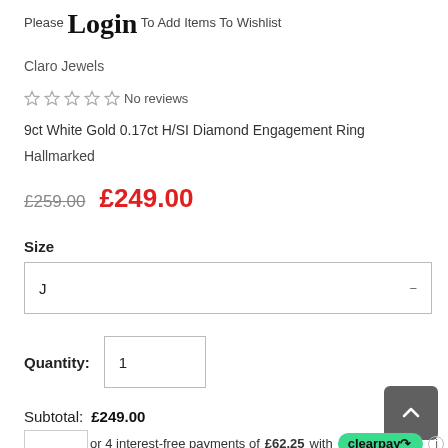Please Login To Add Items To Wishlist
Claro Jewels
☆ ☆ ☆ ☆ ☆ No reviews
9ct White Gold 0.17ct H/SI Diamond Engagement Ring
Hallmarked
£259.00  £249.00
Size
J
Quantity: 1
Subtotal: £249.00
or 4 interest-free payments of £62.25 with clearpay